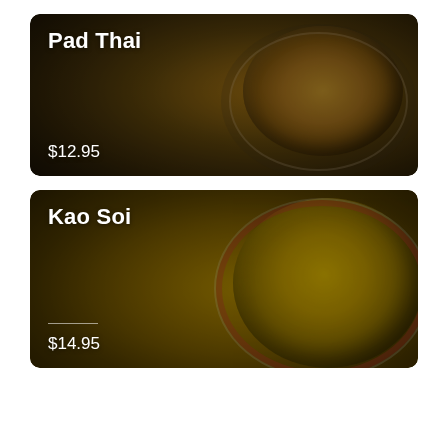[Figure (photo): Card with photo of Pad Thai dish in a dark wok/pan, overhead view, with shrimp and noodles visible. White bold text 'Pad Thai' at top left and '$12.95' at bottom left over the image.]
[Figure (photo): Card with photo of Kao Soi dish, a bowl of yellow curry noodles with coconut milk broth, garnished with cilantro and lime. White bold text 'Kao Soi' at top left and '$14.95' at bottom left over the image.]